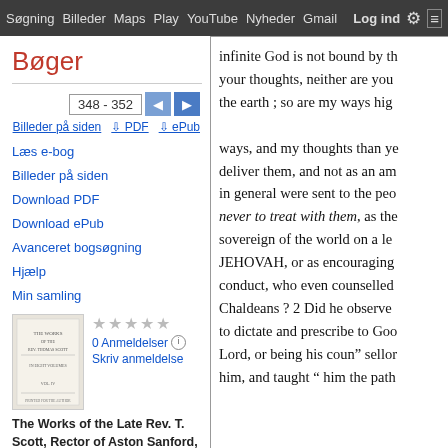Søgning  Billeder  Maps  Play  YouTube  Nyheder  Gmail  Log ind  More
Bøger
Læs e-bog
Billeder på siden
Download PDF
Download ePub
Avanceret bogsøgning
Hjælp
Min samling
0 Anmeldelser
Skriv anmeldelse
The Works of the Late Rev. T. Scott, Rector of Aston Sanford, Bucks, Bind
infinite God is not bound by th your thoughts, neither are you the earth ; so are my ways hig ways, and my thoughts than ye deliver them, and not as an am in general were sent to the peo never to treat with them, as the sovereign of the world on a le JEHOVAH, or as encouraging conduct, who even counselled Chaldeans ? 2 Did he observe to dictate and prescribe to Goo Lord, or being his coun" sellor him, and taught " him the path